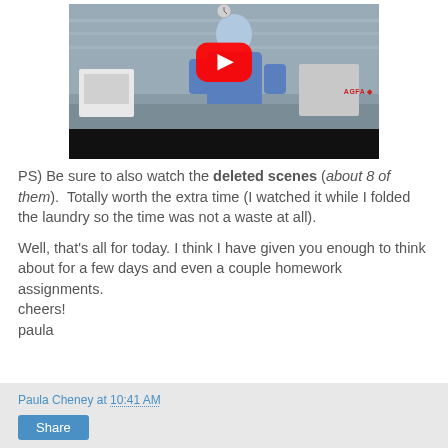[Figure (screenshot): YouTube video thumbnail showing a person in a blue jacket in a store, with a large red YouTube play button overlay. A black bar at the bottom shows 'AGFA' branding in red.]
PS) Be sure to also watch the deleted scenes (about 8 of them).  Totally worth the extra time (I watched it while I folded the laundry so the time was not a waste at all).
Well, that's all for today. I think I have given you enough to think about for a few days and even a couple homework assignments.
cheers!
paula
Paula Cheney at 10:41 AM  Share